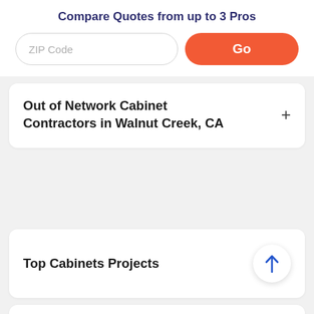Compare Quotes from up to 3 Pros
ZIP Code
Go
Out of Network Cabinet Contractors in Walnut Creek, CA
Top Cabinets Projects